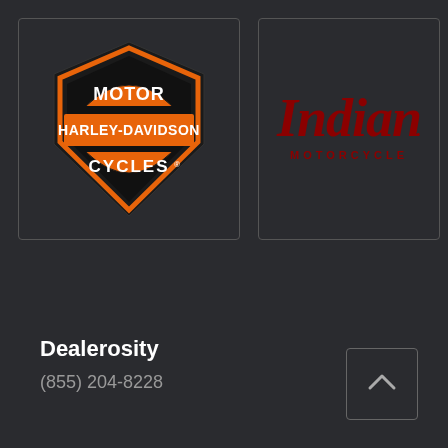[Figure (logo): Harley-Davidson Motor Cycles logo — orange and black shield badge with 'MOTOR' at top, 'HARLEY-DAVIDSON' on orange bar in center, 'CYCLES' at bottom]
[Figure (logo): Indian Motorcycle logo — dark red/crimson cursive 'Indian' text with 'MOTORCYCLE' in spaced capital letters below]
Dealerosity
(855) 204-8228